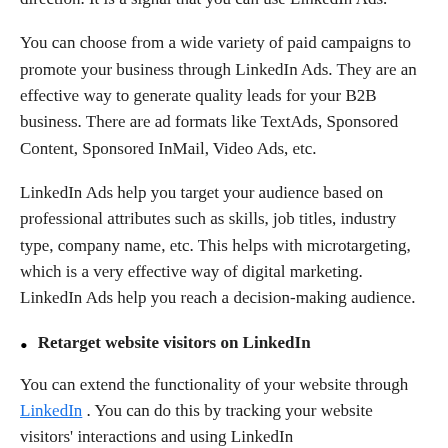direction. It is a signal that you can use LinkedIn Ads.
You can choose from a wide variety of paid campaigns to promote your business through LinkedIn Ads. They are an effective way to generate quality leads for your B2B business. There are ad formats like TextAds, Sponsored Content, Sponsored InMail, Video Ads, etc.
LinkedIn Ads help you target your audience based on professional attributes such as skills, job titles, industry type, company name, etc. This helps with microtargeting, which is a very effective way of digital marketing. LinkedIn Ads help you reach a decision-making audience.
Retarget website visitors on LinkedIn
You can extend the functionality of your website through LinkedIn . You can do this by tracking your website visitors' interactions and using LinkedIn